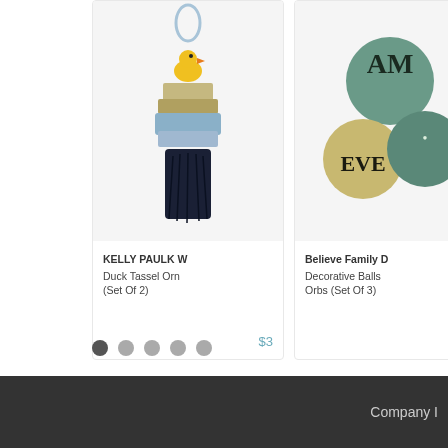[Figure (photo): Product card 1: KELLY PAULK W - Duck Tassel Ornament (Set Of 2) priced at $3x. Shows a yellow duck tassel ornament with blue ribbon hanger and dark navy fringe.]
[Figure (photo): Product card 2: Believe Family D - Decorative Balls/Orbs (Set Of 3) priced at $1x. Shows three decorative orbs/balls with text and greenish colors.]
[Figure (photo): Product card 3: GRACES TEAW - & Saucer priced at $8x. Shows a white teacup and saucer with red floral poppy design.]
KELLY PAULK W Duck Tassel Orn (Set Of 2)
Believe Family D Decorative Balls Orbs (Set Of 3)
GRACES TEAW & Saucer
Company I